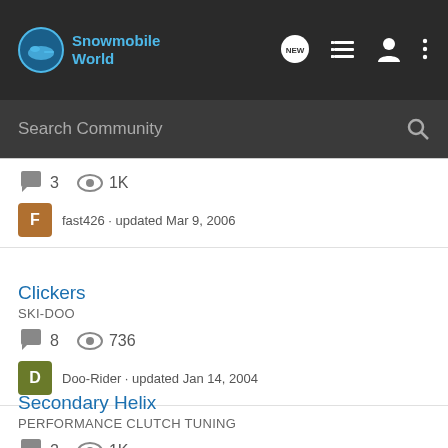Snowmobile World
Search Community
3 replies · 1K views · fast426 · updated Mar 9, 2006
Clickers
SKI-DOO
8 replies · 736 views · Doo-Rider · updated Jan 14, 2004
Secondary Helix
PERFORMANCE CLUTCH TUNING
2 replies · 1K views